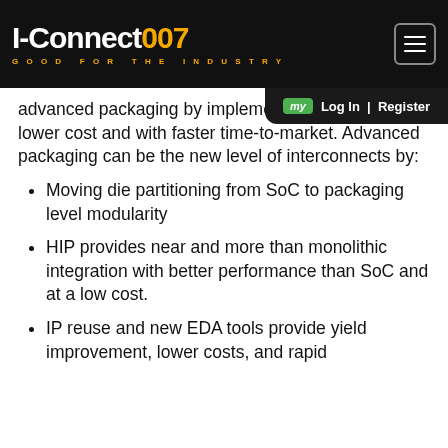I-Connect007 GOOD FOR THE INDUSTRY
advanced packaging by implementing SoCs at a lower cost and with faster time-to-market. Advanced packaging can be the new level of interconnects by:
Moving die partitioning from SoC to packaging level modularity
HIP provides near and more than monolithic integration with better performance than SoC and at a low cost.
IP reuse and new EDA tools provide yield improvement, lower costs, and rapid